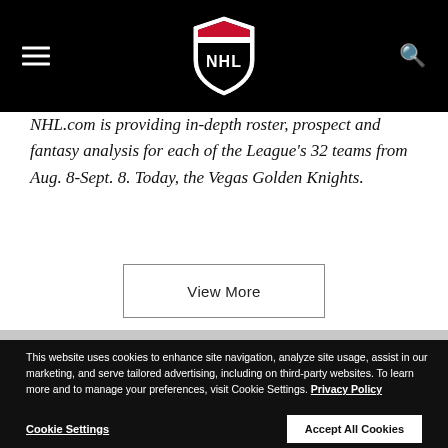[Figure (logo): NHL shield logo in white on black navigation bar, with hamburger menu icon on the left and search icon on the right]
NHL.com is providing in-depth roster, prospect and fantasy analysis for each of the League's 32 teams from Aug. 8-Sept. 8. Today, the Vegas Golden Knights.
View More
This website uses cookies to enhance site navigation, analyze site usage, assist in our marketing, and serve tailored advertising, including on third-party websites. To learn more and to manage your preferences, visit Cookie Settings. Privacy Policy
Cookie Settings
Accept All Cookies